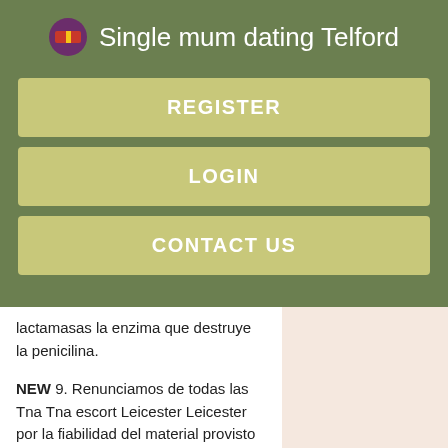Single mum dating Telford
REGISTER
LOGIN
CONTACT US
lactamasas la enzima que destruye la penicilina.
NEW 9. Renunciamos de todas las Tna Tna escort Leicester Leicester por la fiabilidad del material provisto ni por errores que contenga. Hemel Hempstead. Informe a su doctor sobre su